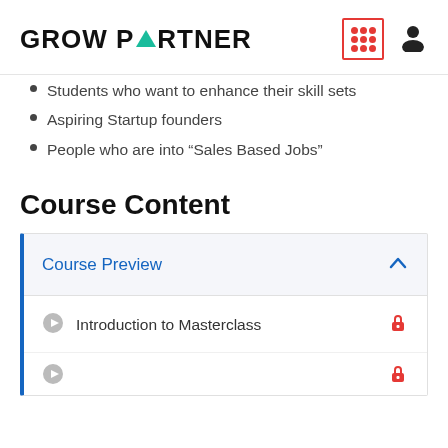GROW PARTNER
Students who want to enhance their skill sets
Aspiring Startup founders
People who are into “Sales Based Jobs”
Course Content
Course Preview
Introduction to Masterclass